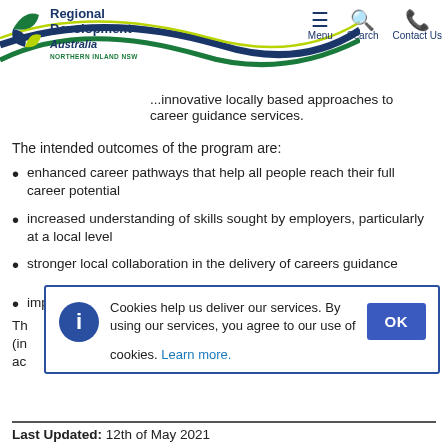Regional Development Australia Northern Inland NSW — Menu | Search | Contact Us
...innovative locally based approaches to career guidance services.
The intended outcomes of the program are:
enhanced career pathways that help all people reach their full career potential
increased understanding of skills sought by employers, particularly at a local level
stronger local collaboration in the delivery of careers guidance
improved quality of locally based career guidance.
Th... (in... ac...
[Figure (screenshot): Cookie consent banner overlay: 'Cookies help us deliver our services. By using our services, you agree to our use of cookies. Learn more.' with an OK button.]
Last Updated: 12th of May 2021